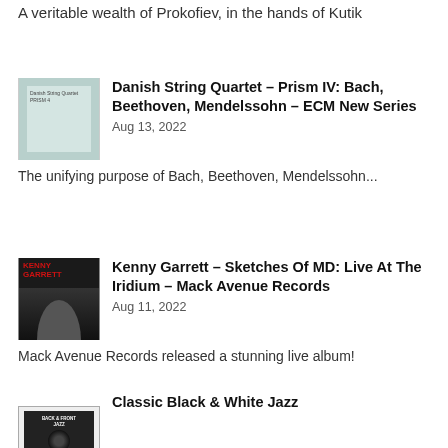A veritable wealth of Prokofiev, in the hands of Kutik
Danish String Quartet – Prism IV: Bach, Beethoven, Mendelssohn – ECM New Series
Aug 13, 2022
The unifying purpose of Bach, Beethoven, Mendelssohn...
Kenny Garrett – Sketches Of MD: Live At The Iridium – Mack Avenue Records
Aug 11, 2022
Mack Avenue Records released a stunning live album!
Classic Black & White Jazz